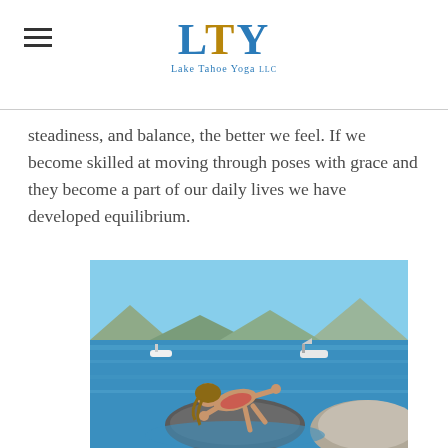LTY Lake Tahoe Yoga
steadiness, and balance, the better we feel. If we become skilled at moving through poses with grace and they become a part of our daily lives we have developed equilibrium.
[Figure (photo): Woman doing a yoga pose balanced on a rock in a lake, with blue water, mountains, and boats in the background (Lake Tahoe).]